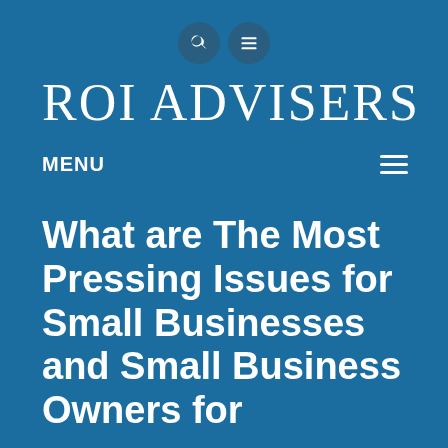[Figure (other): Search icon and hamburger menu icon in dark blue circles at top center of page]
ROI ADVISERS
MENU
What are The Most Pressing Issues for Small Businesses and Small Business Owners for